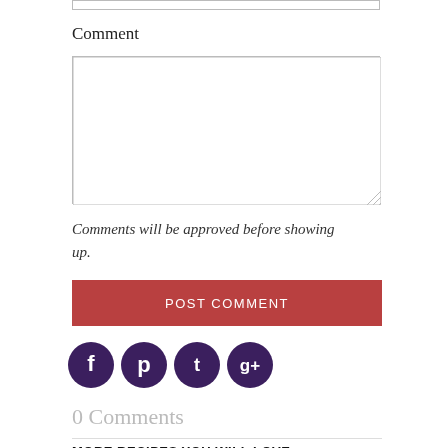Comment
[Figure (screenshot): Text area input box for comment submission]
Comments will be approved before showing up.
POST COMMENT
[Figure (infographic): Social media icons: Facebook, Pinterest, Twitter, Google+]
0 Comments
MORE RECIPES YOU WILL LOVE